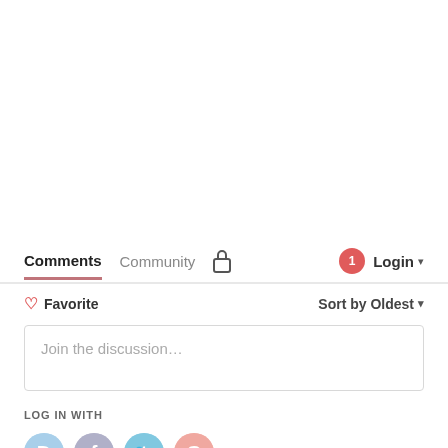Comments  Community  🔒  1  Login
♡ Favorite    Sort by Oldest
Join the discussion…
LOG IN WITH
[Figure (illustration): Four social login icons: Disqus (D), Facebook (F), Twitter (T), Google (G) as colored circles]